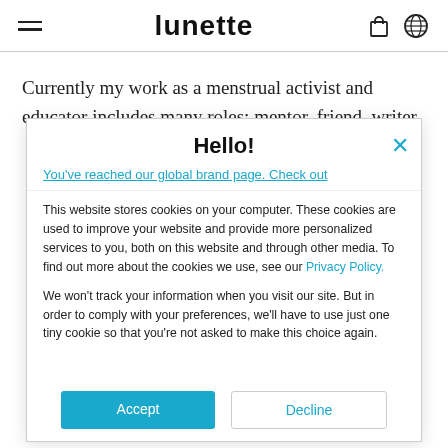lunette
Currently my work as a menstrual activist and educator includes many roles: mentor, friend, writer,
Hello!
You've reached our global brand page. Check out
This website stores cookies on your computer. These cookies are used to improve your website and provide more personalized services to you, both on this website and through other media. To find out more about the cookies we use, see our Privacy Policy.

We won't track your information when you visit our site. But in order to comply with your preferences, we'll have to use just one tiny cookie so that you're not asked to make this choice again.
Accept
Decline